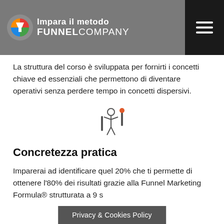Impara il metodo FUNNEL COMPANY
La struttura del corso è sviluppata per fornirti i concetti chiave ed essenziali che permettono di diventare operativi senza perdere tempo in concetti dispersivi.
[Figure (illustration): Icon of a person juggling/balancing with two vertical bars, with an orange dot accent at top right]
Concretezza pratica
Imparerai ad identificare quel 20% che ti permette di ottenere l'80% dei risultati grazie alla Funnel Marketing Formula® strutturata a 9 s...
Privacy & Cookies Policy